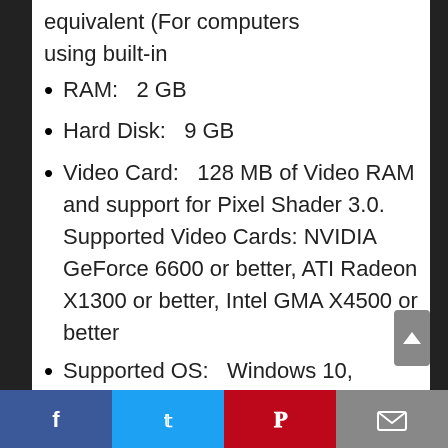equivalent (For computers using built-in
RAM:   2 GB
Hard Disk:   9 GB
Video Card:   128 MB of Video RAM and support for Pixel Shader 3.0. Supported Video Cards: NVIDIA GeForce 6600 or better, ATI Radeon X1300 or better, Intel GMA X4500 or better
Supported OS:   Windows 10, Windows 8, Windows
Facebook  Twitter  Pinterest  Email